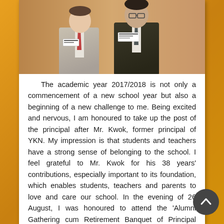[Figure (photo): Two men in suits standing together, one wearing a light grey suit with a tie, the other in a dark suit, both wearing name tags, standing in front of a warm-colored background.]
The academic year 2017/2018 is not only a commencement of a new school year but also a beginning of a new challenge to me. Being excited and nervous, I am honoured to take up the post of the principal after Mr. Kwok, former principal of YKN. My impression is that students and teachers have a strong sense of belonging to the school. I feel grateful to Mr. Kwok for his 38 years' contributions, especially important to its foundation, which enables students, teachers and parents to love and care our school. In the evening of 26 August, I was honoured to attend the 'Alumni Gathering cum Retirement Banquet of Principal Kwok' organized by Alumni Association. There were more than 300 alumni attending the